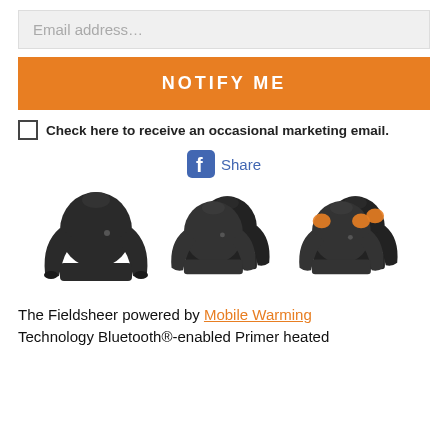Email address…
NOTIFY ME
Check here to receive an occasional marketing email.
[Figure (screenshot): Facebook Share button with f logo and 'Share' text in blue]
[Figure (photo): Three product images of Fieldsheer heated base layer shirts: one single shirt, two shirts side by side, and two shirts with orange heating zones visible on the shoulders and back]
The Fieldsheer powered by Mobile Warming Technology Bluetooth®-enabled Primer heated